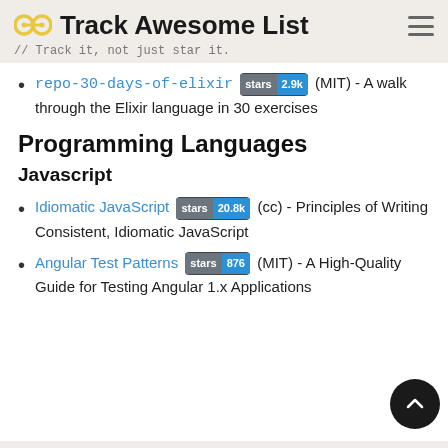Track Awesome List // Track it, not just star it.
repo-30-days-of-elixir stars 2.9k (MIT) - A walk through the Elixir language in 30 exercises
Programming Languages
Javascript
Idiomatic JavaScript stars 20.8k (cc) - Principles of Writing Consistent, Idiomatic JavaScript
Angular Test Patterns stars 876 (MIT) - A High-Quality Guide for Testing Angular 1.x Applications